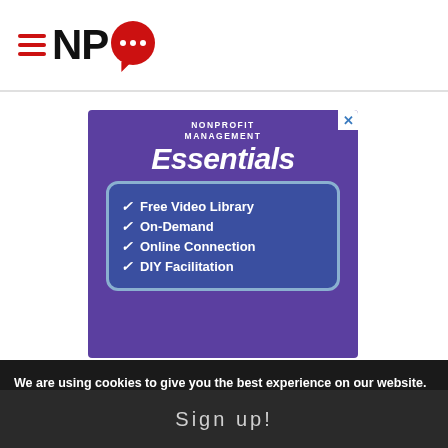[Figure (logo): NPQ (Nonprofit Quarterly) logo with hamburger menu icon, red lines, bold NPQ text, and red speech bubble with dots]
[Figure (infographic): Advertisement for Nonprofit Management Essentials featuring a purple background with checklist items: Free Video Library, On-Demand, Online Connection, DIY Facilitation]
We are using cookies to give you the best experience on our website.
Sign up!